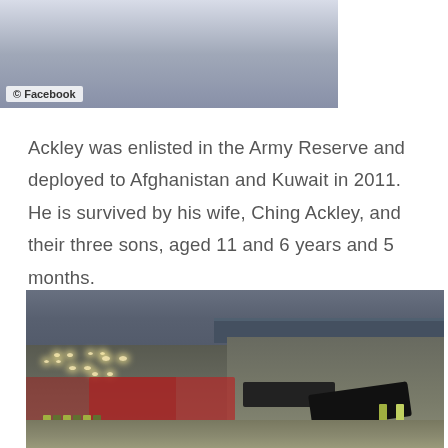[Figure (photo): Two people in a close embrace, partially visible, cropped portrait photo with Facebook watermark credit]
© Facebook
Ackley was enlisted in the Army Reserve and deployed to Afghanistan and Kuwait in 2011. He is survived by his wife, Ching Ackley, and their three sons, aged 11 and 6 years and 5 months.
[Figure (photo): Highway accident scene showing overturned vehicle, fire trucks, emergency responders in yellow/green vests, backed-up traffic with headlights on, highway overpass in background]